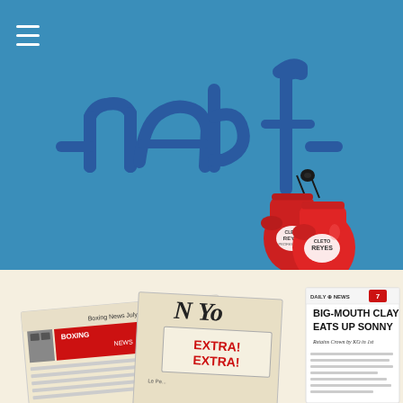[Figure (logo): NABF logo with blue handwritten-style 'nabf' text and two red Cleto Reyes boxing gloves hanging from a string, on a steel blue background]
[Figure (photo): Collection of boxing-related newspapers including 'Boxing News', 'New York Post', 'Daily News Extra!' headlines and a Daily News headline reading 'BIG-MOUTH CLAY EATS UP SONNY - Retains Crown by KO in 1st']